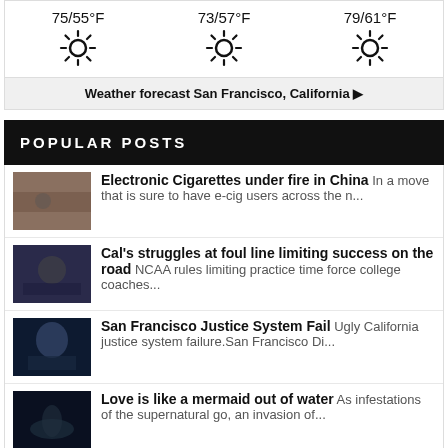[Figure (infographic): Weather forecast widget showing three columns (SAT, SUN, MON) with temperatures and sun icons. SAT: 75/55°F, SUN: 73/57°F, MON: 79/61°F]
Weather forecast San Francisco, California ▶
POPULAR POSTS
Electronic Cigarettes under fire in China In a move that is sure to have e-cig users across the n...
Cal's struggles at foul line limiting success on the road NCAA rules limiting practice time force college coaches...
San Francisco Justice System Fail Ugly California justice system failure.San Francisco Di...
Love is like a mermaid out of water As infestations of the supernatural go, an invasion of...